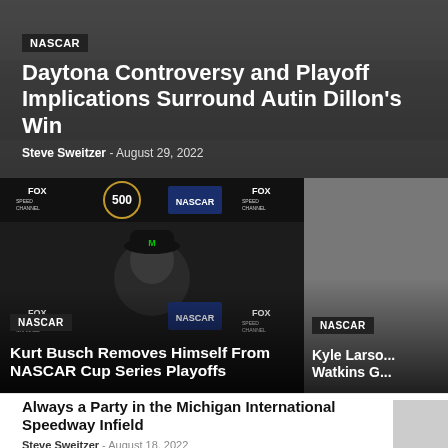NASCAR
Daytona Controversy and Playoff Implications Surround Autin Dillon's Win
Steve Sweitzer - August 29, 2022
[Figure (photo): Press conference photo of NASCAR driver at podium with FOX and NASCAR 500 logos in background]
NASCAR
Kurt Busch Removes Himself From NASCAR Cup Series Playoffs
[Figure (photo): Partially visible NASCAR article thumbnail with gray background]
NASCAR
Kyle Larso... Watkins G...
Always a Party in the Michigan International Speedway Infield
Steve Sweitzer - August 18, 2022